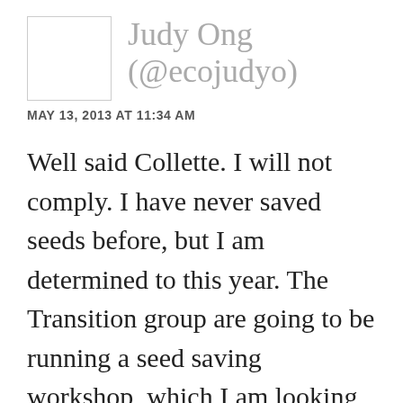[Figure (other): Avatar placeholder box (empty square with border)]
Judy Ong (@ecojudyo)
MAY 13, 2013 AT 11:34 AM
Well said Collette. I will not comply. I have never saved seeds before, but I am determined to this year. The Transition group are going to be running a seed saving workshop, which I am looking forward to.